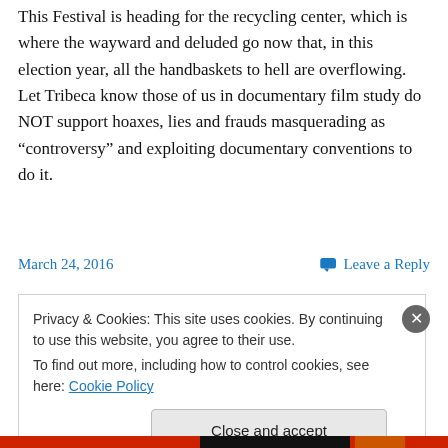This Festival is heading for the recycling center, which is where the wayward and deluded go now that, in this election year, all the handbaskets to hell are overflowing. Let Tribeca know those of us in documentary film study do NOT support hoaxes, lies and frauds masquerading as “controversy” and exploiting documentary conventions to do it.
March 24, 2016    Leave a Reply
Privacy & Cookies: This site uses cookies. By continuing to use this website, you agree to their use.
To find out more, including how to control cookies, see here: Cookie Policy